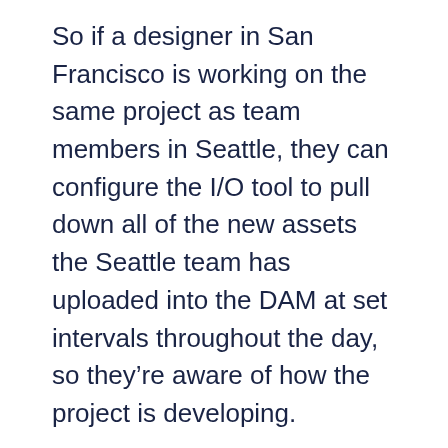So if a designer in San Francisco is working on the same project as team members in Seattle, they can configure the I/O tool to pull down all of the new assets the Seattle team has uploaded into the DAM at set intervals throughout the day, so they're aware of how the project is developing.
For work-in-progress assets, the user can also tell the tool whether to version, or replace older assets. By selecting “version”, the DAM will provide a clear picture of how the project has progressed, showing versions of the project as it has evolved through the creative cycle. If the project